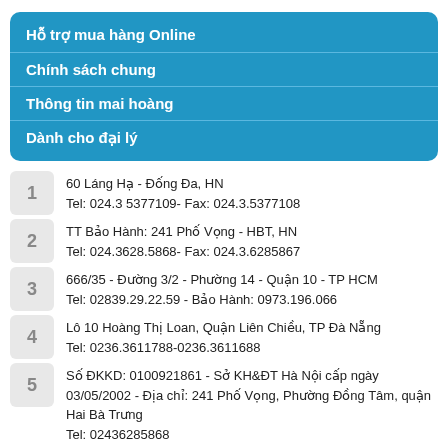Hỗ trợ mua hàng Online
Chính sách chung
Thông tin mai hoàng
Dành cho đại lý
60 Láng Hạ - Đống Đa, HN
Tel: 024.3 5377109- Fax: 024.3.5377108
TT Bảo Hành: 241 Phố Vọng - HBT, HN
Tel: 024.3628.5868- Fax: 024.3.6285867
666/35 - Đường 3/2 - Phường 14 - Quận 10 - TP HCM
Tel: 02839.29.22.59 - Bảo Hành: 0973.196.066
Lô 10 Hoàng Thị Loan, Quận Liên Chiều, TP Đà Nẵng
Tel: 0236.3611788-0236.3611688
Số ĐKKD: 0100921861 - Sở KH&ĐT Hà Nội cấp ngày 03/05/2002 - Địa chỉ: 241 Phố Vọng, Phường Đồng Tâm, quận Hai Bà Trưng
Tel: 02436285868